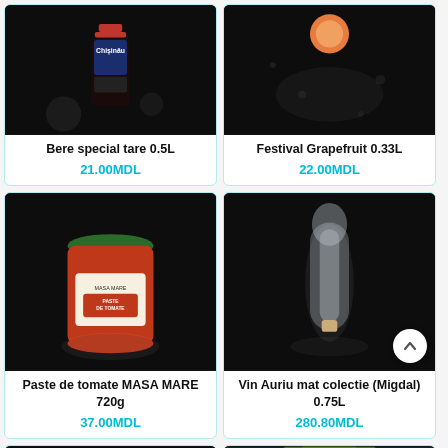[Figure (photo): Product photo of Bere special tare 0.5L beer bottle on dark background]
Bere special tare 0.5L
21.00MDL
[Figure (photo): Product photo of Festival Grapefruit 0.33L drink on dark background]
Festival Grapefruit 0.33L
22.00MDL
[Figure (photo): Product photo of Paste de tomate MASA MARE 720g jar on dark background]
Paste de tomate MASA MARE 720g
37.00MDL
[Figure (photo): Product photo of Vin Auriu mat colectie (Migdal) 0.75L wine bottle wrapped in plastic on dark background]
Vin Auriu mat colectie (Migdal) 0.75L
280.80MDL
[Figure (photo): Partial product photo at bottom left, dark background]
[Figure (photo): Partial product photo at bottom right, green item visible]